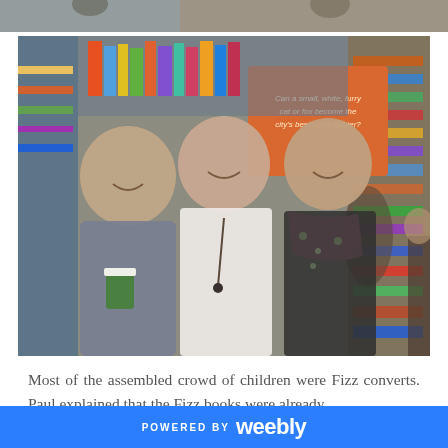[Figure (photo): Partial top strip of a photo — appears to be a group of people, cropped at the very top of the page.]
[Figure (photo): Three people smiling in a bookshop. On the left is a man in a grey shirt holding a takeaway cup. In the center is a woman in a white top with a long necklace. On the right is a woman in a dark floral jacket with a pink scarf. Behind them is an orange banner and bookshelves.]
Most of the assembled crowd of children were Fizz converts. Paul explained that the Fizz books were already
POWERED BY weebly